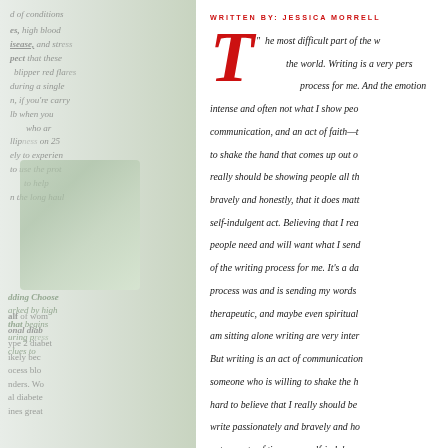[Figure (photo): Blurred left page of a magazine or book spread showing partially visible health-related text and a soft-focus photo of what appears to be a person or object with wooden elements, rendered in muted greens and grays.]
WRITTEN BY: JESSICA MORRELL
"he most difficult part of the w... the world. Writing is a very pers... process for me. And the emotion... intense and often not what I show peo... communication, and an act of faith—t... to shake the hand that comes up out o... really should be showing people all th... bravely and honestly, that it does matt... self-indulgent act. Believing that I rea... people need and will want what I send... of the writing process for me. It's a da... process was and is sending my words... therapeutic, and maybe even spiritual... am sitting alone writing are very inter... But writing is an act of communication... someone who is willing to shake the h... hard to believe that I really should be... write passionately and bravely and ho... not a waste of time, or a self-indulgen...